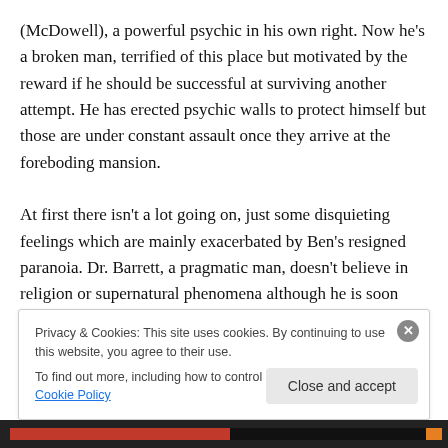(McDowell), a powerful psychic in his own right. Now he's a broken man, terrified of this place but motivated by the reward if he should be successful at surviving another attempt. He has erected psychic walls to protect himself but those are under constant assault once they arrive at the foreboding mansion.

At first there isn't a lot going on, just some disquieting feelings which are mainly exacerbated by Ben's resigned paranoia. Dr. Barrett, a pragmatic man, doesn't believe in religion or supernatural phenomena although he is soon
Privacy & Cookies: This site uses cookies. By continuing to use this website, you agree to their use.
To find out more, including how to control cookies, see here: Cookie Policy
Close and accept